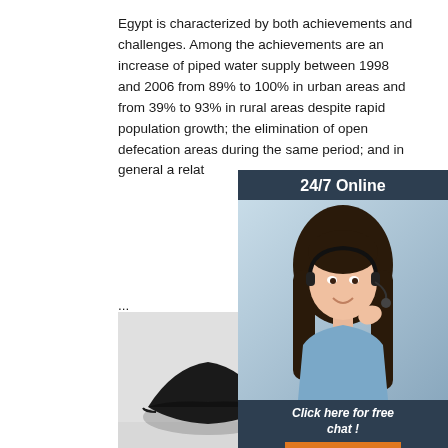Egypt is characterized by both achievements and challenges. Among the achievements are an increase of piped water supply between 1998 and 2006 from 89% to 100% in urban areas and from 39% to 93% in rural areas despite rapid population growth; the elimination of open defecation areas during the same period; and in general a relat ...
...
[Figure (other): Orange 'Get Price' button]
[Figure (other): 24/7 Online chat widget with photo of woman with headset, 'Click here for free chat!' text, and orange QUOTATION button]
[Figure (photo): Photo of three baseball caps (black, beige, purple) on a light background with a TOP badge logo in the lower right]
[Figure (logo): TOP badge with orange triangle dots above orange text 'TOP']